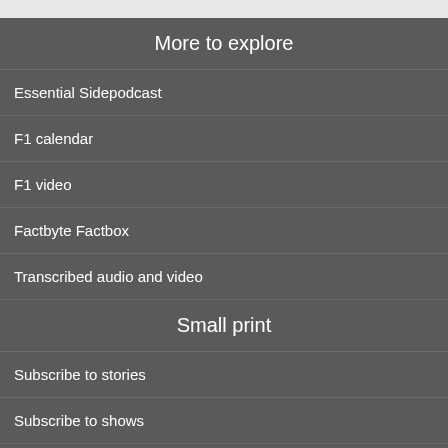More to explore
Essential Sidepodcast
F1 calendar
F1 video
Factbyte Factbox
Transcribed audio and video
Small print
Subscribe to stories
Subscribe to shows
Subscribe to news